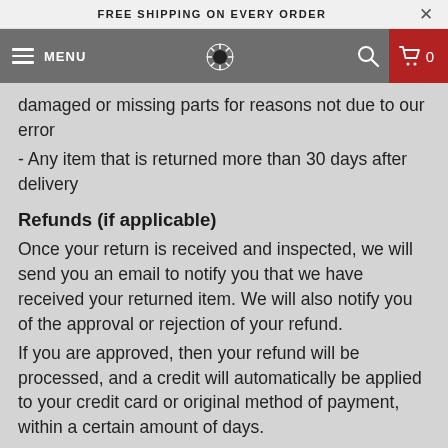FREE SHIPPING ON EVERY ORDER
MENU  [logo]  [search]  [cart] 0
damaged or missing parts for reasons not due to our error
- Any item that is returned more than 30 days after delivery
Refunds (if applicable)
Once your return is received and inspected, we will send you an email to notify you that we have received your returned item. We will also notify you of the approval or rejection of your refund.
If you are approved, then your refund will be processed, and a credit will automatically be applied to your credit card or original method of payment, within a certain amount of days.